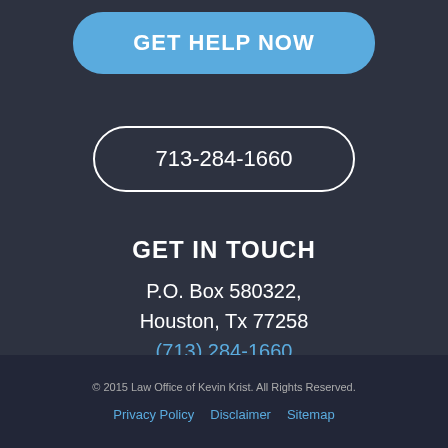GET HELP NOW
713-284-1660
GET IN TOUCH
P.O. Box 580322, Houston, Tx 77258
(713) 284-1660
© 2015 Law Office of Kevin Krist. All Rights Reserved.
Privacy Policy  Disclaimer  Sitemap